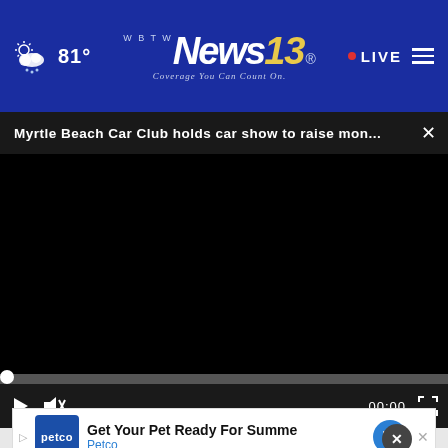WBTW News 13 — Coverage You Can Count On. 81° LIVE
Myrtle Beach Car Club holds car show to raise mon...
[Figure (screenshot): Black video player with progress bar at bottom showing 00:00, play button, mute button, and fullscreen icon]
[Figure (screenshot): Blue advertisement banner reading 'It's not too late to take charge' with close X button]
[Figure (screenshot): Petco advertisement: 'Get Your Pet Ready For Summe' / 'Petco' with Petco logo, navigation arrow, and close button]